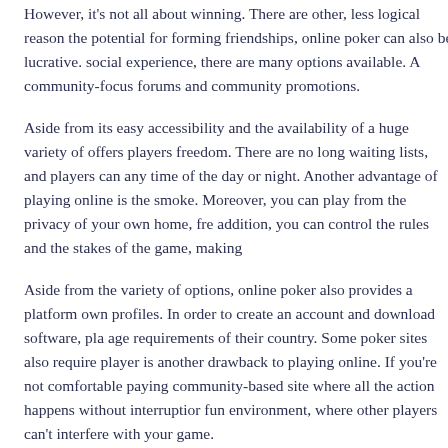However, it's not all about winning. There are other, less logical reasons to play poker online. Aside from the potential for forming friendships, online poker can also be lucrative. For those who want a more social experience, there are many options available. A community-focused poker site will feature forums and community promotions.
Aside from its easy accessibility and the availability of a huge variety of games, online poker also offers players freedom. There are no long waiting lists, and players can sit down at a table to play at any time of the day or night. Another advantage of playing online is the absence of second-hand smoke. Moreover, you can play from the privacy of your own home, free from distractions. In addition, you can control the rules and the stakes of the game, making it more fun.
Aside from the variety of options, online poker also provides a platform for players to create their own profiles. In order to create an account and download software, players must comply with the age requirements of their country. Some poker sites also require players to verify their identity. This is another drawback to playing online. If you're not comfortable paying with a credit card, look for a community-based site where all the action happens without interruption. This will ensure a safe and fun environment, where other players can't interfere with your game.
When it comes to online poker, you'll want to look for a site that offers achievements that will help you to play better. There are simple and complex goals that you can set for yourself to accomplish. Unlocking 100% of these achievements will be a major challenge, but a